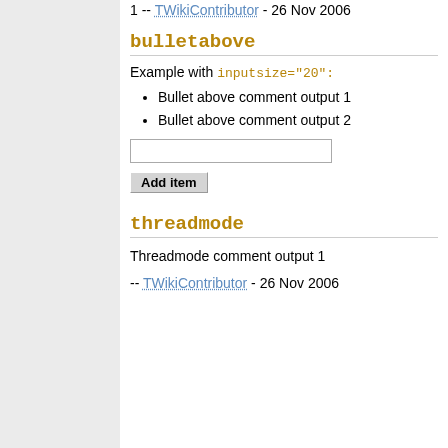1 -- TWikiContributor - 26 Nov 2006
bulletabove
Example with inputsize="20":
Bullet above comment output 1
Bullet above comment output 2
threadmode
Threadmode comment output 1
-- TWikiContributor - 26 Nov 2006